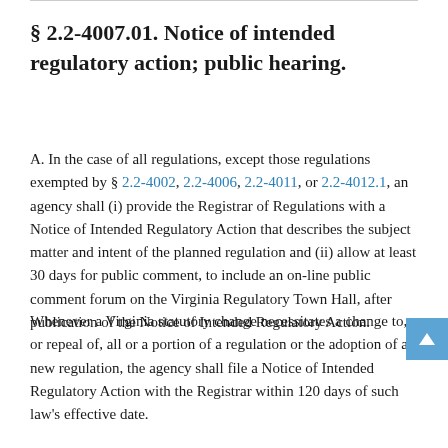§ 2.2-4007.01. Notice of intended regulatory action; public hearing.
A. In the case of all regulations, except those regulations exempted by § 2.2-4002, 2.2-4006, 2.2-4011, or 2.2-4012.1, an agency shall (i) provide the Registrar of Regulations with a Notice of Intended Regulatory Action that describes the subject matter and intent of the planned regulation and (ii) allow at least 30 days for public comment, to include an on-line public comment forum on the Virginia Regulatory Town Hall, after publication of the Notice of Intended Regulatory Action.
Whenever a Virginia statutory change necessitates a change to, or repeal of, all or a portion of a regulation or the adoption of a new regulation, the agency shall file a Notice of Intended Regulatory Action with the Registrar within 120 days of such law's effective date.